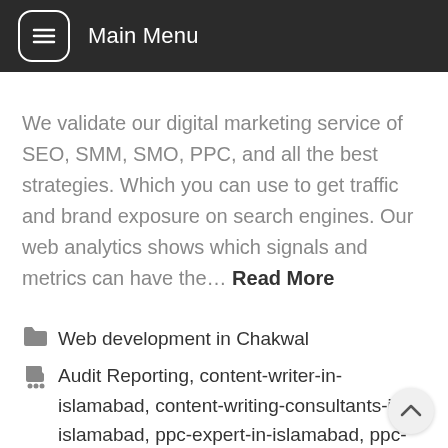Main Menu
We validate our digital marketing service of SEO, SMM, SMO, PPC, and all the best strategies. Which you can use to get traffic and brand exposure on search engines. Our web analytics shows which signals and metrics can have the… Read More
Web development in Chakwal
Audit Reporting, content-writer-in-islamabad, content-writing-consultants-in-islamabad, ppc-expert-in-islamabad, ppc-expert-in-pakistan, Search Engine Marketing Company Islamabad, sem-expert-in-pakistan, SEO Analysis Company Islamabad, seo-company-in-pakistan, seo-company-islamabad, seo-consultants-company-islamabad, seo-consultants-islamabad, seo-expert-in-pakistan, seo-expert-pakistan, seo-islamabad, seo-services-islamabad, seo-services-pakistan, Social